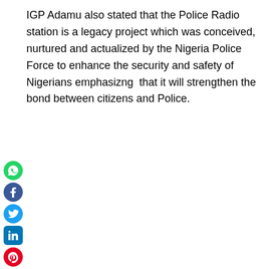IGP Adamu also stated that the Police Radio station is a legacy project which was conceived, nurtured and actualized by the Nigeria Police Force to enhance the security and safety of Nigerians emphasizng  that it will strengthen the bond between citizens and Police.
[Figure (other): Social media share icons: WhatsApp, Facebook, Twitter, LinkedIn, Pinterest, Reddit, Email, Print]